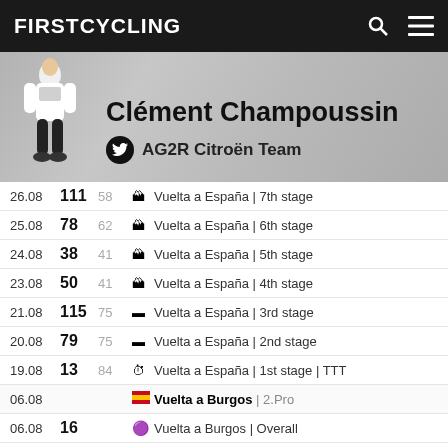FIRSTCYCLING
[Figure (photo): Profile banner with cyclist photo (Clément Champoussin in AG2R Citroën kit) and blurred peloton background]
Clément Champoussin
AG2R Citroën Team
| Date | Pos | PCS | Type | Race |
| --- | --- | --- | --- | --- |
| 26.08 | 111 | 58 | 🏔 | Vuelta a España | 7th stage |
| 25.08 | 78 | 62 | 🏔 | Vuelta a España | 6th stage |
| 24.08 | 38 | 41 | 🏔 | Vuelta a España | 5th stage |
| 23.08 | 50 | 41 | 🏔 | Vuelta a España | 4th stage |
| 21.08 | 115 | 75 | — | Vuelta a España | 3rd stage |
| 20.08 | 79 | 75 | — | Vuelta a España | 2nd stage |
| 19.08 | 13 | 84 | ⏱ | Vuelta a España | 1st stage | TTT |
| 06.08 |  |  | 🇪🇸 | Vuelta a Burgos | 2.Pro |
| 06.08 | 16 |  | 👕 | Vuelta a Burgos | Overall |
| 06.08 | 28 | 16 | 🏔 | Vuelta a Burgos | 5th stage |
| 05.08 | 19 | 17 | — | Vuelta a Burgos | 4th stage |
| 04.08 | 18 | 17 | 🏔 | Vuelta a Burgos | 3rd stage |
| 03.08 | 59 | 52 | — | Vuelta a Burgos | 2nd stage |